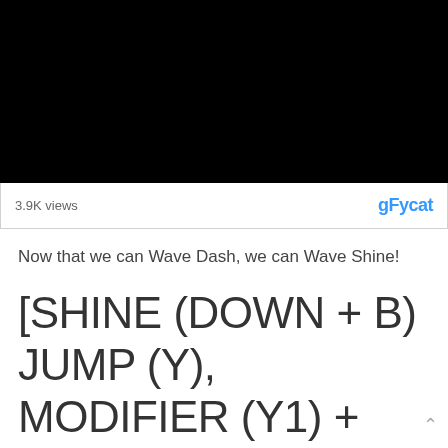[Figure (screenshot): Black video player rectangle]
3.9K views
gFycat
Now that we can Wave Dash, we can Wave Shine!
[SHINE (DOWN + B) JUMP (Y), MODIFIER (Y1) + ANALOG (DOWN-BACK OR DOWN-FORWARD) DURING JUM...